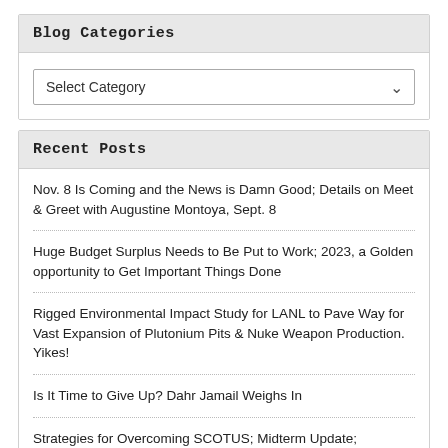Blog Categories
Select Category
Recent Posts
Nov. 8 Is Coming and the News is Damn Good; Details on Meet & Greet with Augustine Montoya, Sept. 8
Huge Budget Surplus Needs to Be Put to Work; 2023, a Golden opportunity to Get Important Things Done
Rigged Environmental Impact Study for LANL to Pave Way for Vast Expansion of Plutonium Pits & Nuke Weapon Production. Yikes!
Is It Time to Give Up? Dahr Jamail Weighs In
Strategies for Overcoming SCOTUS; Midterm Update; Santolina Call to Action